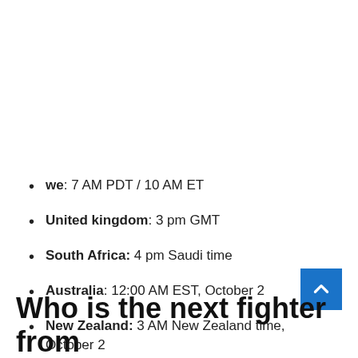we: 7 AM PDT / 10 AM ET
United kingdom: 3 pm GMT
South Africa: 4 pm Saudi time
Australia: 12:00 AM EST, October 2
New Zealand: 3 AM New Zealand time, October 2
Who is the next fighter from